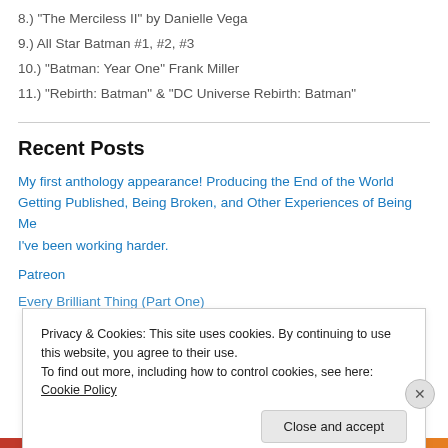8.) "The Merciless II" by Danielle Vega
9.) All Star Batman #1, #2, #3
10.) "Batman: Year One" Frank Miller
11.) "Rebirth: Batman" & "DC Universe Rebirth: Batman"
Recent Posts
My first anthology appearance! Producing the End of the World
Getting Published, Being Broken, and Other Experiences of Being Me
I've been working harder.
Patreon
Every Brilliant Thing (Part One)
Privacy & Cookies: This site uses cookies. By continuing to use this website, you agree to their use.
To find out more, including how to control cookies, see here: Cookie Policy
Close and accept